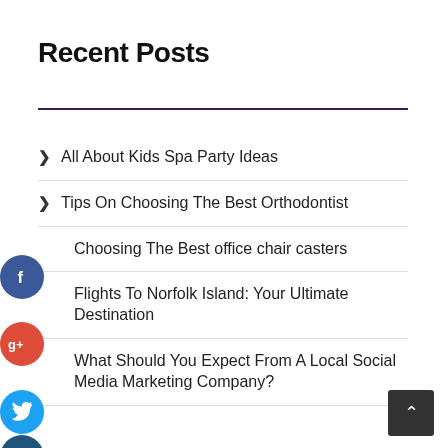Recent Posts
All About Kids Spa Party Ideas
Tips On Choosing The Best Orthodontist
Choosing The Best office chair casters
Flights To Norfolk Island: Your Ultimate Destination
What Should You Expect From A Local Social Media Marketing Company?